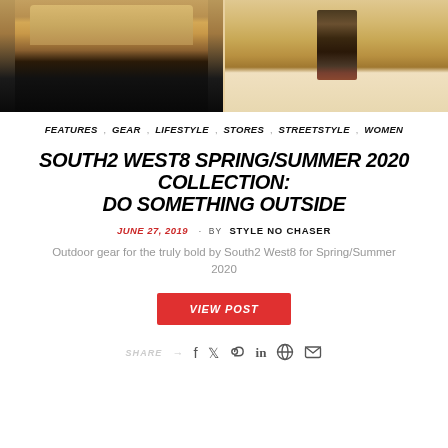[Figure (photo): Two fashion editorial photos side by side showing models wearing South2 West8 Spring/Summer 2020 collection in an outdoor desert setting]
FEATURES · GEAR · LIFESTYLE · STORES · STREETSTYLE · WOMEN
SOUTH2 WEST8 SPRING/SUMMER 2020 COLLECTION: DO SOMETHING OUTSIDE
JUNE 27, 2019 · BY STYLE NO CHASER
Outdoor gear for the truly bold by South2 West8 for Spring/Summer 2020
VIEW POST
SHARE → (social icons: Facebook, Twitter, Pinterest, LinkedIn, Reddit, Email)